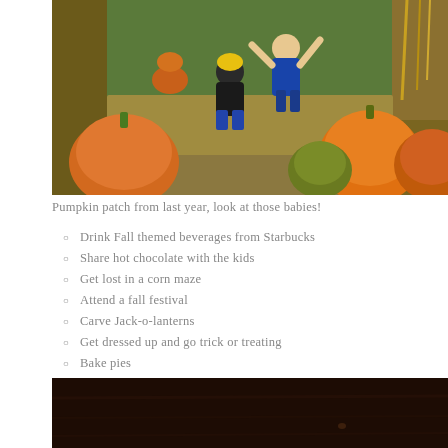[Figure (photo): Two young children sitting on hay bales at a pumpkin patch, surrounded by orange pumpkins and fall decorations]
Pumpkin patch from last year, look at those babies!
Drink Fall themed beverages from Starbucks
Share hot chocolate with the kids
Get lost in a corn maze
Attend a fall festival
Carve Jack-o-lanterns
Get dressed up and go trick or treating
Bake pies
[Figure (photo): Dark brown wooden surface, partially visible at bottom of page]